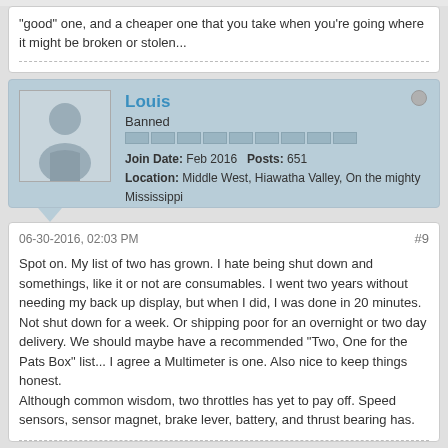"good" one, and a cheaper one that you take when you're going where it might be broken or stolen...
Louis
Banned
Join Date: Feb 2016   Posts: 651
Location: Middle West, Hiawatha Valley, On the mighty Mississippi
06-30-2016, 02:03 PM
#9

Spot on. My list of two has grown. I hate being shut down and somethings, like it or not are consumables. I went two years without needing my back up display, but when I did, I was done in 20 minutes. Not shut down for a week. Or shipping poor for an overnight or two day delivery. We should maybe have a recommended "Two, One for the Pats Box" list... I agree a Multimeter is one. Also nice to keep things honest.
Although common wisdom, two throttles has yet to pay off. Speed sensors, sensor magnet, brake lever, battery, and thrust bearing has.